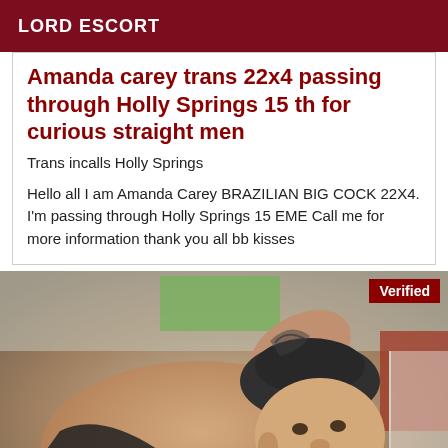LORD ESCORT
Amanda carey trans 22x4 passing through Holly Springs 15 th for curious straight men
Trans incalls Holly Springs
Hello all I am Amanda Carey BRAZILIAN BIG COCK 22X4. I'm passing through Holly Springs 15 EME Call me for more information thank you all bb kisses
[Figure (photo): Photo of a person lying back, with a tattoo visible on the arm, wearing a dark cap. A 'Verified' badge appears in the top-right corner.]